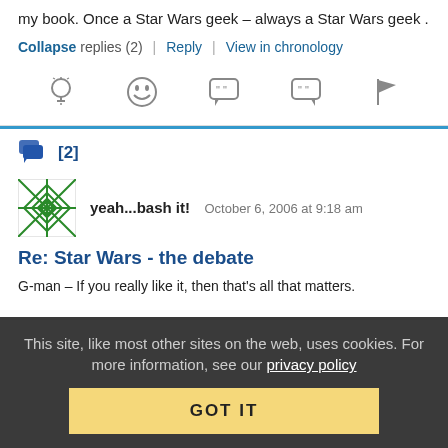my book. Once a Star Wars geek – always a Star Wars geek .
Collapse replies (2) | Reply | View in chronology
[Figure (infographic): Row of 5 comment action icons: lightbulb, laughing emoji, speech bubble with quotes, speech bubble with double quote, flag]
[2]
[Figure (illustration): User avatar: green geometric/star pattern on white background]
yeah...bash it!   October 6, 2006 at 9:18 am
Re: Star Wars - the debate
G-man – If you really like it, then that's all that matters.
This site, like most other sites on the web, uses cookies. For more information, see our privacy policy
GOT IT